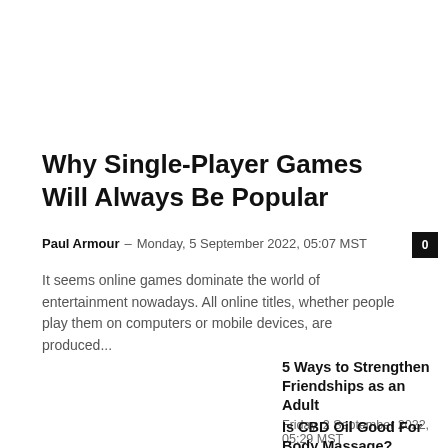Why Single-Player Games Will Always Be Popular
Paul Armour – Monday, 5 September 2022, 05:07 MST  0
It seems online games dominate the world of entertainment nowadays. All online titles, whether people play them on computers or mobile devices, are produced...
5 Ways to Strengthen Friendships as an Adult
Friday, 2 September 2022, 05:29 MST
Is CBD Oil Good For Body Massage?